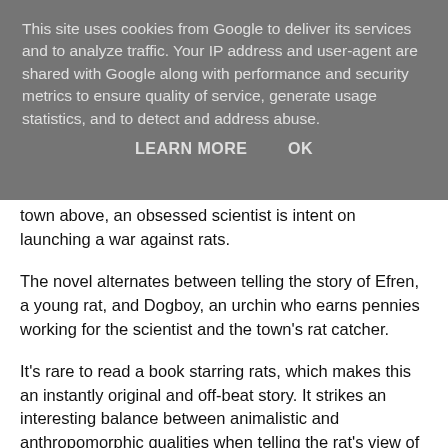This site uses cookies from Google to deliver its services and to analyze traffic. Your IP address and user-agent are shared with Google along with performance and security metrics to ensure quality of service, generate usage statistics, and to detect and address abuse.
LEARN MORE   OK
town above, an obsessed scientist is intent on launching a war against rats.
The novel alternates between telling the story of Efren, a young rat, and Dogboy, an urchin who earns pennies working for the scientist and the town's rat catcher.
It's rare to read a book starring rats, which makes this an instantly original and off-beat story. It strikes an interesting balance between animalistic and anthropomorphic qualities when telling the rat's view of events. Physically, on the outside, they are definitely rats, their movements and actions described in prose that skilfully draws them very much as rodents. Internally, however, they are not quite so different